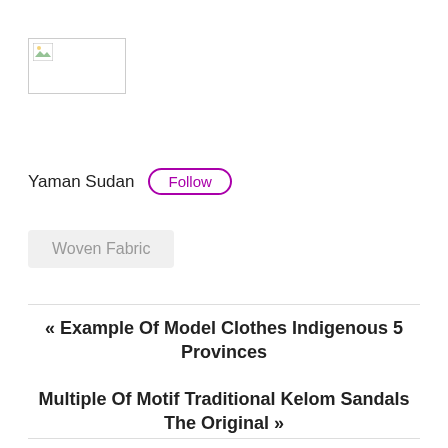[Figure (photo): Broken image placeholder with small landscape icon, bordered box]
Yaman Sudan  Follow
Woven Fabric
« Example Of Model Clothes Indigenous 5 Provinces
Multiple Of Motif Traditional Kelom Sandals The Original »